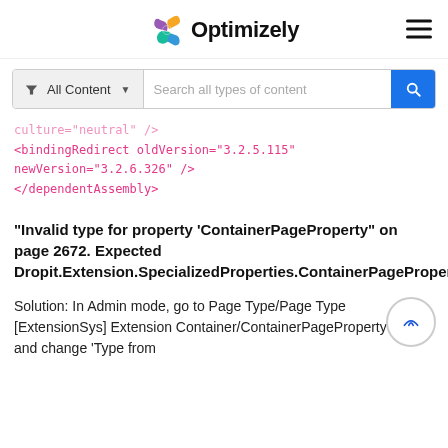Optimizely
[Figure (screenshot): Search bar with 'All Content' filter dropdown and 'Search all types of content' placeholder, blue search button]
culture="neutral" />
<bindingRedirect oldVersion="3.2.5.115" newVersion="3.2.6.326" />
</dependentAssembly>
"Invalid type for property 'ContainerPageProperty" on page 2672. Expected Dropit.Extension.SpecializedProperties.ContainerPageProperty."
Solution: In Admin mode, go to Page Type/Page Type [ExtensionSys] Extension Container/ContainerPageProperty and change 'Type from